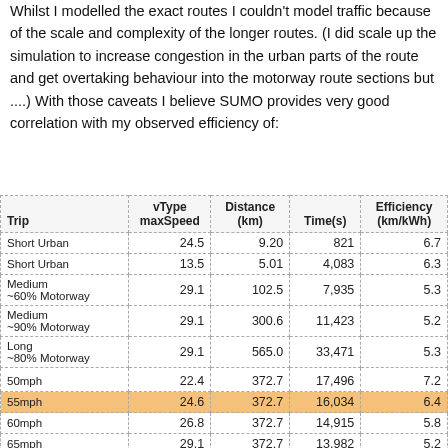Whilst I modelled the exact routes I couldn't model traffic because of the scale and complexity of the longer routes. (I did scale up the simulation to increase congestion in the urban parts of the route and get overtaking behaviour into the motorway route sections but ....) With those caveats I believe SUMO provides very good correlation with my observed efficiency of:
| Trip | vType maxSpeed | Distance (km) | Time(s) | Efficiency (km/kWh) |
| --- | --- | --- | --- | --- |
| Short Urban | 24.5 | 9.20 | 821 | 6.7 |
| Short Urban | 13.5 | 5.01 | 4,083 | 6.3 |
| Medium ~60% Motorway | 29.1 | 102.5 | 7,935 | 5.3 |
| Medium ~90% Motorway | 29.1 | 300.6 | 11,423 | 5.2 |
| Long ~80% Motorway | 29.1 | 565.0 | 33,471 | 5.3 |
| 50mph | 22.4 | 372.7 | 17,496 | 7.2 |
| 55mph | 24.6 | 372.7 | 16,034 | 6.4 |
| 60mph | 26.8 | 372.7 | 14,915 | 5.8 |
| 65mph | 29.1 | 372.7 | 13,982 | 5.2 |
| 70mph | 31.3 | 372.7 | 13,387 | 4.8 |